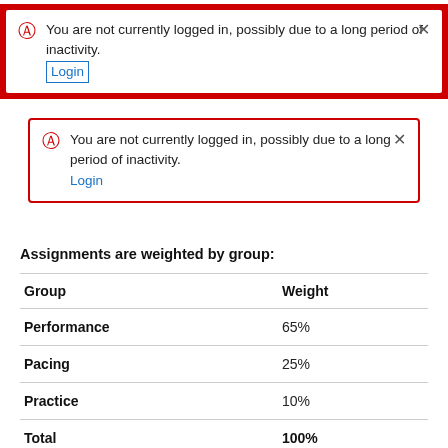You are not currently logged in, possibly due to a long period of inactivity. Login
You are not currently logged in, possibly due to a long period of inactivity. Login
Assignments are weighted by group:
| Group | Weight |
| --- | --- |
| Performance | 65% |
| Pacing | 25% |
| Practice | 10% |
| Total | 100% |